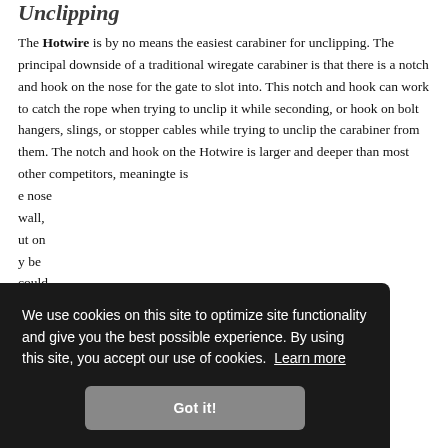Unclipping
The Hotwire is by no means the easiest carabiner for unclipping. The principal downside of a traditional wiregate carabiner is that there is a notch and hook on the nose for the gate to slot into. This notch and hook can work to catch the rope when trying to unclip it while seconding, or hook on bolt hangers, slings, or stopper cables while trying to unclip the carabiner from them. The notch and hook on the Hotwire is larger and deeper than most other competitors, meaning the gate is ... the nose ... wall, ... ut on ... y be ... could
We use cookies on this site to optimize site functionality and give you the best possible experience. By using this site, you accept our use of cookies. Learn more